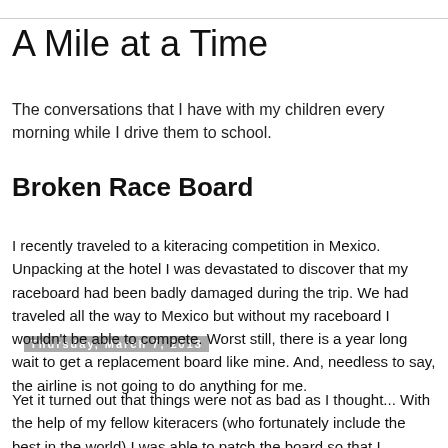A Mile at a Time
The conversations that I have with my children every morning while I drive them to school.
Thursday, March 7, 2013
Broken Race Board
I recently traveled to a kiteracing competition in Mexico. Unpacking at the hotel I was devastated to discover that my raceboard had been badly damaged during the trip. We had traveled all the way to Mexico but without my raceboard I wouldn't be able to compete. Worst still, there is a year long wait to get a replacement board like mine. And, needless to say, the airline is not going to do anything for me.
Yet it turned out that things were not as bad as I thought... With the help of my fellow kiteracers (who fortunately include the best in the world) I was able to patch the board so that I